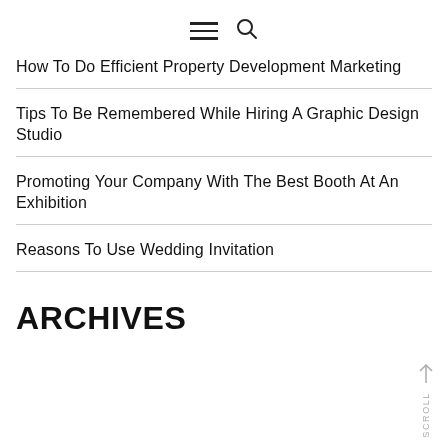[Navigation icons: hamburger menu and search]
How To Do Efficient Property Development Marketing
Tips To Be Remembered While Hiring A Graphic Design Studio
Promoting Your Company With The Best Booth At An Exhibition
Reasons To Use Wedding Invitation
ARCHIVES